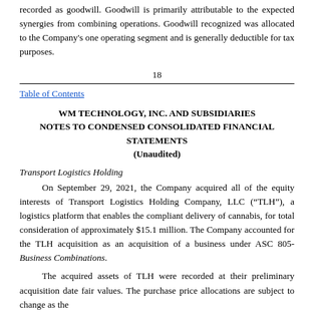recorded as goodwill. Goodwill is primarily attributable to the expected synergies from combining operations. Goodwill recognized was allocated to the Company's one operating segment and is generally deductible for tax purposes.
18
Table of Contents
WM TECHNOLOGY, INC. AND SUBSIDIARIES
NOTES TO CONDENSED CONSOLIDATED FINANCIAL STATEMENTS
(Unaudited)
Transport Logistics Holding
On September 29, 2021, the Company acquired all of the equity interests of Transport Logistics Holding Company, LLC (“TLH”), a logistics platform that enables the compliant delivery of cannabis, for total consideration of approximately $15.1 million. The Company accounted for the TLH acquisition as an acquisition of a business under ASC 805- Business Combinations.
The acquired assets of TLH were recorded at their preliminary acquisition date fair values. The purchase price allocations are subject to change as the